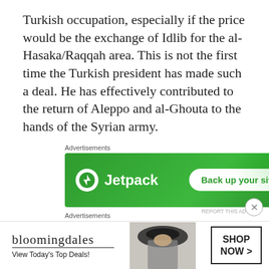Turkish occupation, especially if the price would be the exchange of Idlib for the al-Hasaka/Raqqah area. This is not the first time the Turkish president has made such a deal. He has effectively contributed to the return of Aleppo and al-Ghouta to the hands of the Syrian army.
[Figure (other): Jetpack advertisement banner on green background with 'Back up your site' button]
Notwithstanding the fact that US withdrawal is uncertain and not taken seriously by all parties operating in Syria, the creation of a “buffer zone” will
[Figure (other): Bloomingdale's advertisement banner with 'View Today's Top Deals!' and 'SHOP NOW >' button]